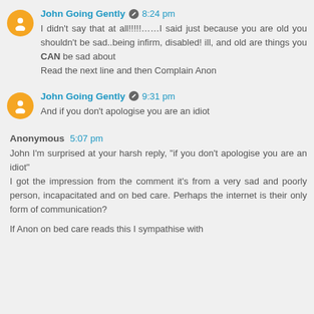John Going Gently  8:24 pm
I didn't say that at all!!!!!……I said just because you are old you shouldn't be sad..being infirm, disabled! ill, and old are things you CAN be sad about
Read the next line and then Complain Anon
John Going Gently  9:31 pm
And if you don't apologise you are an idiot
Anonymous  5:07 pm
John I'm surprised at your harsh reply, "if you don't apologise you are an idiot"
I got the impression from the comment it's from a very sad and poorly person, incapacitated and on bed care. Perhaps the internet is their only form of communication?
If Anon on bed care reads this I sympathise with